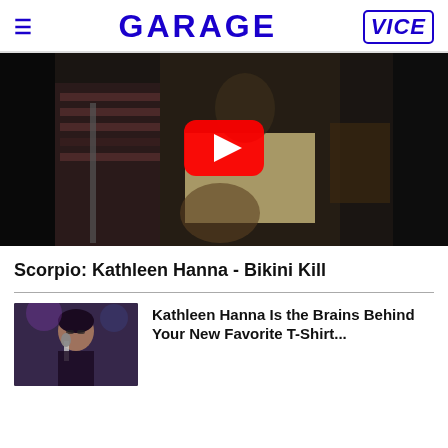GARAGE | VICE
[Figure (screenshot): YouTube video embed showing a musician performing, with a red YouTube play button overlay on a dark background]
Scorpio: Kathleen Hanna - Bikini Kill
[Figure (photo): Thumbnail photo of Kathleen Hanna performing, woman with dark hair wearing glasses and holding a microphone]
Kathleen Hanna Is the Brains Behind Your New Favorite T-Shirt...